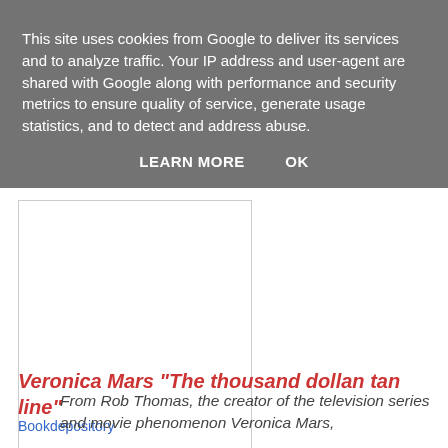This site uses cookies from Google to deliver its services and to analyze traffic. Your IP address and user-agent are shared with Google along with performance and security metrics to ensure quality of service, generate usage statistics, and to detect and address abuse.
LEARN MORE    OK
[Figure (other): Book cover image placeholder (white rectangle with border)]
Veronica Mars "The thousand dollan tan line"
Bookdepository
From Rob Thomas, the creator of the television series and movie phenomenon Veronica Mars,